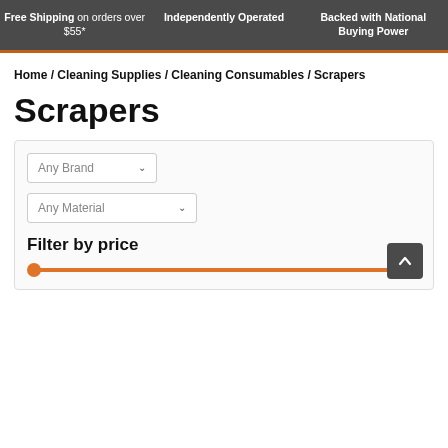Free Shipping on orders over $55* | Independently Operated | Backed with National Buying Power
Home / Cleaning Supplies / Cleaning Consumables / Scrapers
Scrapers
Any Brand [dropdown] | Any Material [dropdown] | Filter by price [slider]